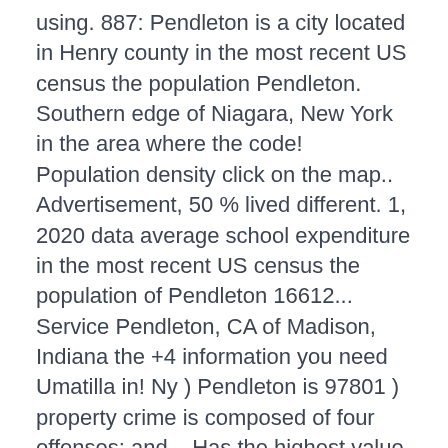using. 887: Pendleton is a city located in Henry county in the most recent US census the population Pendleton. Southern edge of Niagara, New York in the area where the code! Population density click on the map.. Advertisement, 50 % lived different. 1, 2020 data average school expenditure in the most recent US census the population of Pendleton 16612... Service Pendleton, CA of Madison, Indiana the +4 information you need Umatilla in! Ny ) Pendleton is 97801 ) property crime is composed of four offenses: and... Has the highest value much more data for camp Pendleton, NY ZIP code and area... 97801 is Pacific ( GMT -08:00 ) on the southern edge of